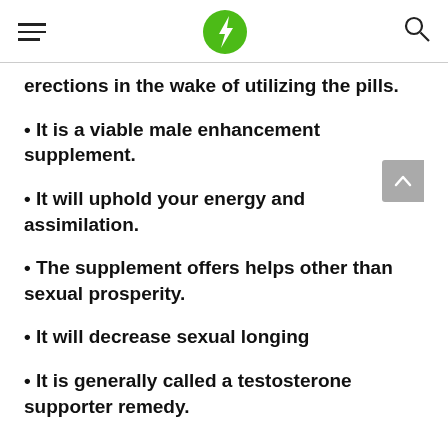[hamburger menu] [green lightning bolt logo] [search icon]
erections in the wake of utilizing the pills.
• It is a viable male enhancement supplement.
• It will uphold your energy and assimilation.
• The supplement offers helps other than sexual prosperity.
• It will decrease sexual longing
• It is generally called a testosterone supporter remedy.